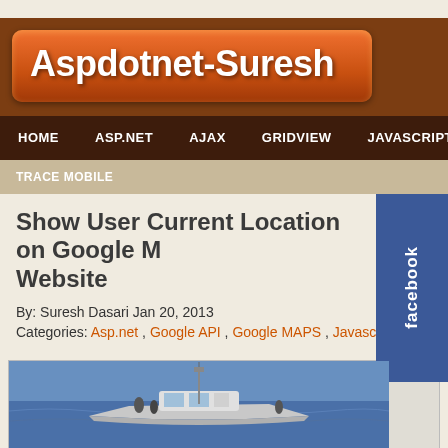Aspdotnet-Suresh
HOME  ASP.NET  AJAX  GRIDVIEW  JAVASCRIPT  SQL
TRACE MOBILE
Show User Current Location on Google Maps in Website
By: Suresh Dasari Jan 20, 2013
Categories: Asp.net , Google API , Google MAPS , Javascript
[Figure (photo): Photograph of a boat on water, visible at the bottom of the page]